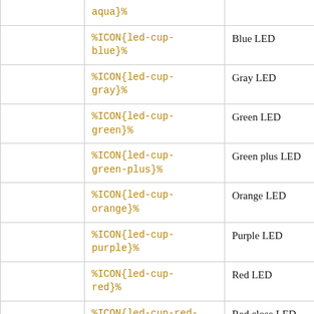|  | aqua}% |  |
|  | %ICON{led-cup-blue}% | Blue LED |
|  | %ICON{led-cup-gray}% | Gray LED |
|  | %ICON{led-cup-green}% | Green LED |
|  | %ICON{led-cup-green-plus}% | Green plus LED |
|  | %ICON{led-cup-orange}% | Orange LED |
|  | %ICON{led-cup-purple}% | Purple LED |
|  | %ICON{led-cup-red}% | Red LED |
|  | %ICON{led-cup-red-close}% | Red close LED |